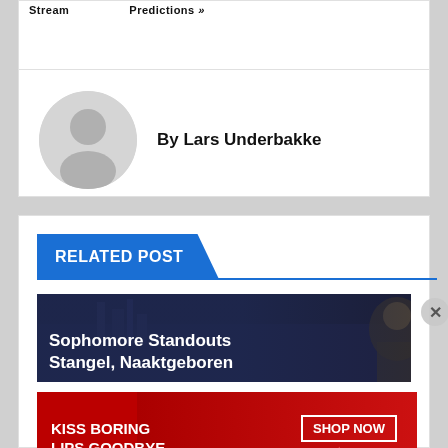Stream    Predictions »
[Figure (illustration): Default user avatar circle — grey circle with silhouette person icon]
By Lars Underbakke
RELATED POST
[Figure (photo): Dark background image with text overlay: Sophomore Standouts Stangel, Naaktgeboren]
Advertisements
[Figure (photo): Macy's advertisement banner: KISS BORING LIPS GOODBYE — SHOP NOW — macy's]